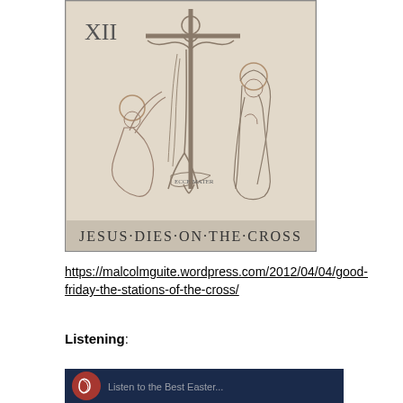[Figure (illustration): Stone relief carving labeled 'XII' showing the Station of the Cross: Jesus Dies on the Cross. Three figures depicted — two kneeling figures and one standing figure with halo, with cross imagery. Text at bottom reads 'JESUS·DIES·ON·THE·CROSS'.]
https://malcolmguite.wordpress.com/2012/04/04/good-friday-the-stations-of-the-cross/
Listening:
[Figure (screenshot): Dark blue banner/thumbnail image with a circular logo on the left and partial text visible at the bottom.]